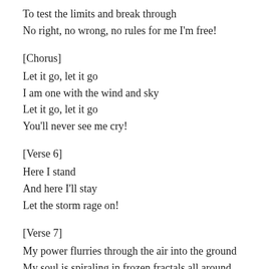To test the limits and break through
No right, no wrong, no rules for me I'm free!
[Chorus]
Let it go, let it go
I am one with the wind and sky
Let it go, let it go
You'll never see me cry!
[Verse 6]
Here I stand
And here I'll stay
Let the storm rage on!
[Verse 7]
My power flurries through the air into the ground
My soul is spiraling in frozen fractals all around
And one thought crystallizes like an icy blast
I'm never going back,